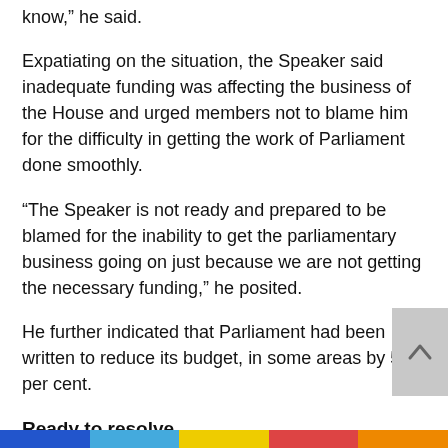know,” he said.
Expatiating on the situation, the Speaker said inadequate funding was affecting the business of the House and urged members not to blame him for the difficulty in getting the work of Parliament done smoothly.
“The Speaker is not ready and prepared to be blamed for the inability to get the parliamentary business going on just because we are not getting the necessary funding,” he posited.
He further indicated that Parliament had been written to reduce its budget, in some areas by 50 per cent.
Ready to resolve
Commenting on the concern raised by the Speaker, the Majority Chief Whip and Member of Parliament for Nsawam-